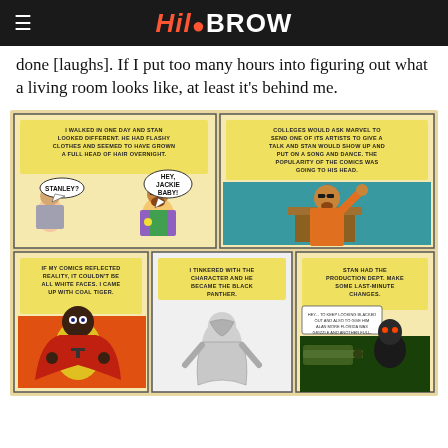HiloBROW
done [laughs]. If I put too many hours into figuring out what a living room looks like, at least it's behind me.
[Figure (illustration): Comic book panels depicting scenes about Stan Lee: top-left panel shows a character saying 'Stanley?' meeting a flashy-dressed man who says 'Hey, Jackie Baby!' with caption about Stan looking different with flashy clothes; top-right panel shows Stan at a podium performing a song and dance for colleges; bottom-left panel shows Coal Tiger character with caption about comics reflecting reality not being all white faces; bottom-middle panel shows Black Panther character with caption about tinkering with the character; bottom-right panel shows a dark figure with caption about Stan having the production dept make last-minute changes.]